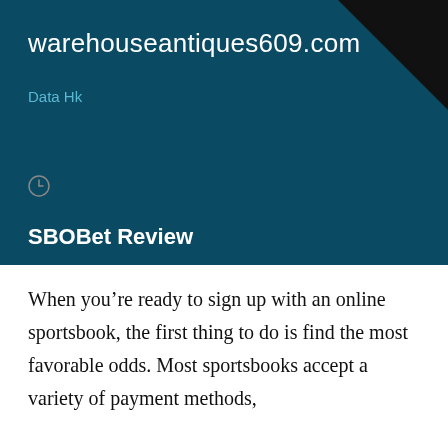warehouseantiques609.com
Data Hk
SBOBet Review
When you’re ready to sign up with an online sportsbook, the first thing to do is find the most favorable odds. Most sportsbooks accept a variety of payment methods,